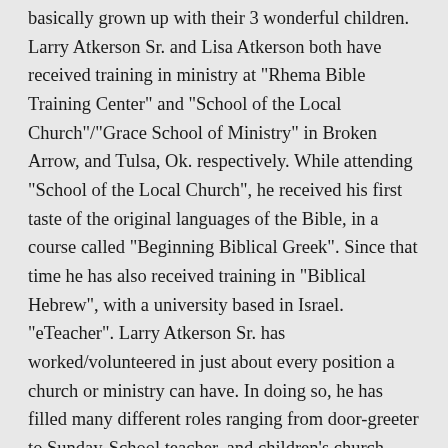basically grown up with their 3 wonderful children. Larry Atkerson Sr. and Lisa Atkerson both have received training in ministry at "Rhema Bible Training Center" and "School of the Local Church"/"Grace School of Ministry" in Broken Arrow, and Tulsa, Ok. respectively. While attending "School of the Local Church", he received his first taste of the original languages of the Bible, in a course called "Beginning Biblical Greek". Since that time he has also received training in "Biblical Hebrew", with a university based in Israel. "eTeacher". Larry Atkerson Sr. has worked/volunteered in just about every position a church or ministry can have. In doing so, he has filled many different roles ranging from door-greeter to Sunday-School teacher, and children's church worker to counselor. He has also served in the pastoral positions of children's, youth, and adult ministries. He has worked and been involved in hospital/visitation ministries